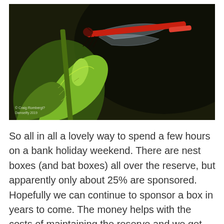[Figure (photo): A red damselfly (large red damselfly) perched on a green leaf with serrated edges, likely a nettle or similar plant. The background is dark olive/brown bokeh. A watermark and date are visible in the lower left corner.]
So all in all a lovely way to spend a few hours on a bank holiday weekend. There are nest boxes (and bat boxes) all over the reserve, but apparently only about 25% are sponsored. Hopefully we can continue to sponsor a box in years to come. The money helps with the costs of maintaining the reserve and we get the pleasure of